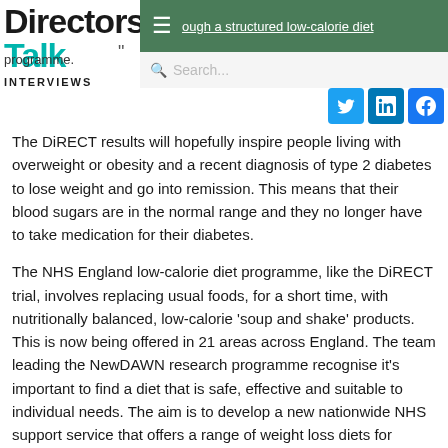Directors Talk INTERVIEWS — through a structured low-calorie diet programme. Search...
The DiRECT results will hopefully inspire people living with overweight or obesity and a recent diagnosis of type 2 diabetes to lose weight and go into remission. This means that their blood sugars are in the normal range and they no longer have to take medication for their diabetes.
The NHS England low-calorie diet programme, like the DiRECT trial, involves replacing usual foods, for a short time, with nutritionally balanced, low-calorie 'soup and shake' products. This is now being offered in 21 areas across England. The team leading the NewDAWN research programme recognise it's important to find a diet that is safe, effective and suitable to individual needs. The aim is to develop a new nationwide NHS support service that offers a range of weight loss diets for people with overweight or obesity and newly diagnosed with type 2 diabetes.